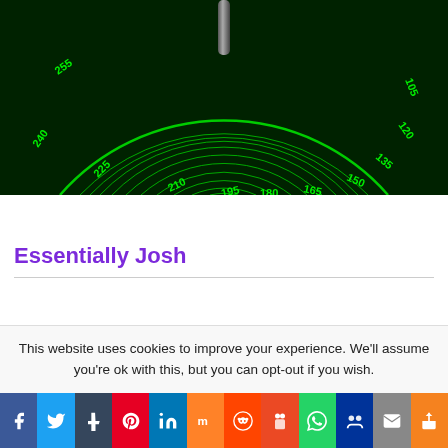[Figure (other): A green radar/compass dial on a dark green background. The semicircular protractor-style display shows degree markings at regular intervals: 105, 120, 135, 150, 165, 180, 195, 210, 225, 240, 255 degrees. Green concentric arcs and radial grid lines fill the dial. A metallic needle or pointer is visible at the top center.]
Essentially Josh
This website uses cookies to improve your experience. We'll assume you're ok with this, but you can opt-out if you wish.
[Figure (infographic): Social sharing bar with icons for: Facebook (f), Twitter (bird), Tumblr (t), Pinterest (P), LinkedIn (in), Mix (m), Reddit (alien), StumbleUpon (figure icon), WhatsApp (phone), Myspace (figures), Email (envelope), More (share icon).]